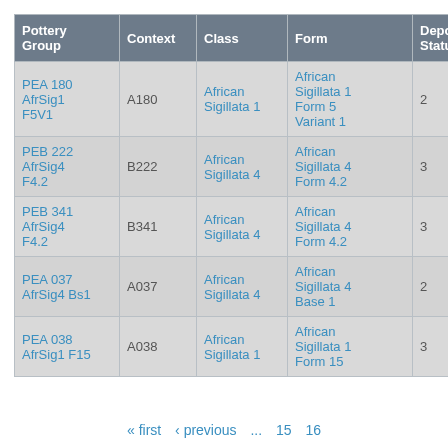| Pottery Group | Context | Class | Form | Depos Status | R Ct | R EV |
| --- | --- | --- | --- | --- | --- | --- |
| PEA 180 AfrSig1 F5V1 | A180 | African Sigillata 1 | African Sigillata 1 Form 5 Variant 1 | 2 | 1 | 1 |
| PEB 222 AfrSig4 F4.2 | B222 | African Sigillata 4 | African Sigillata 4 Form 4.2 | 3 |  |  |
| PEB 341 AfrSig4 F4.2 | B341 | African Sigillata 4 | African Sigillata 4 Form 4.2 | 3 |  |  |
| PEA 037 AfrSig4 Bs1 | A037 | African Sigillata 4 | African Sigillata 4 Base 1 | 2 |  |  |
| PEA 038 AfrSig1 F15 | A038 | African Sigillata 1 | African Sigillata 1 Form 15 | 3 |  |  |
« first  ‹ previous  ...  15  16